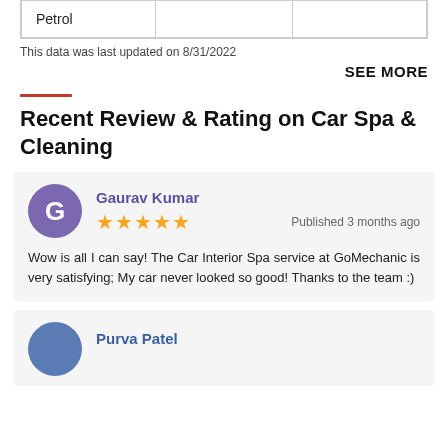|  |  |  |
| --- | --- | --- |
| Petrol |  |  |
This data was last updated on 8/31/2022
SEE MORE
Recent Review & Rating on Car Spa & Cleaning
Gaurav Kumar
★★★★★
Published 3 months ago
Wow is all I can say! The Car Interior Spa service at GoMechanic is very satisfying; My car never looked so good! Thanks to the team :)
Purva Patel